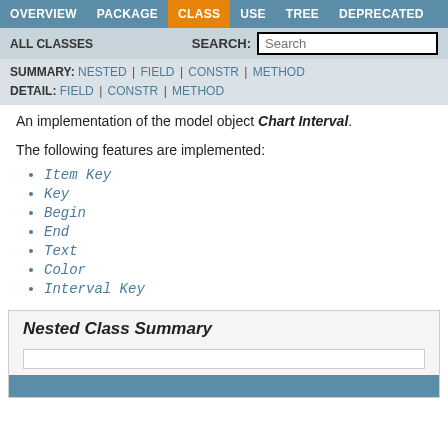OVERVIEW | PACKAGE | CLASS | USE | TREE | DEPRECATED
ALL CLASSES | SEARCH:
SUMMARY: NESTED | FIELD | CONSTR | METHOD | DETAIL: FIELD | CONSTR | METHOD
An implementation of the model object Chart Interval.
The following features are implemented:
Item Key
Key
Begin
End
Text
Color
Interval Key
Nested Class Summary